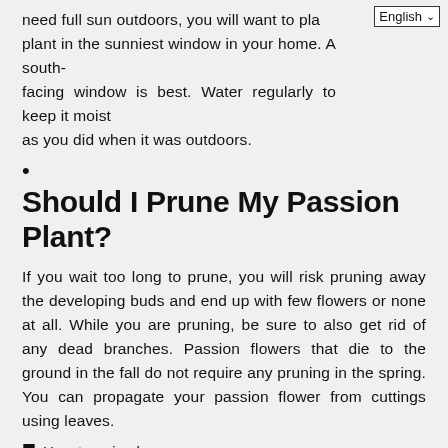need full sun outdoors, you will want to pla plant in the sunniest window in your home. A south-facing window is best. Water regularly to keep it moist as you did when it was outdoors.
•
Should I Prune My Passion Plant?
If you wait too long to prune, you will risk pruning away the developing buds and end up with few flowers or none at all. While you are pruning, be sure to also get rid of any dead branches. Passion flowers that die to the ground in the fall do not require any pruning in the spring. You can propagate your passion flower from cuttings using leaves.
🔖 Uncategorized